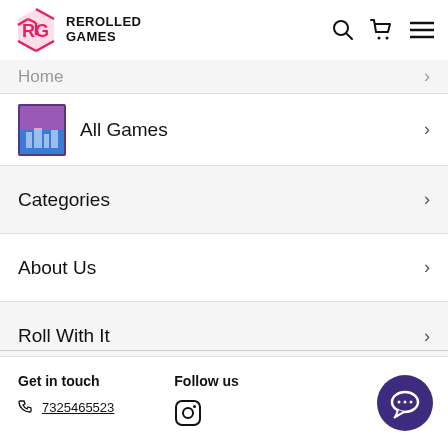[Figure (logo): Rerolled Games logo with pink hexagonal RG icon and bold text REROLLED GAMES]
Home >
All Games >
Categories >
About Us >
Roll With It >
Get in touch
7325465523
Follow us